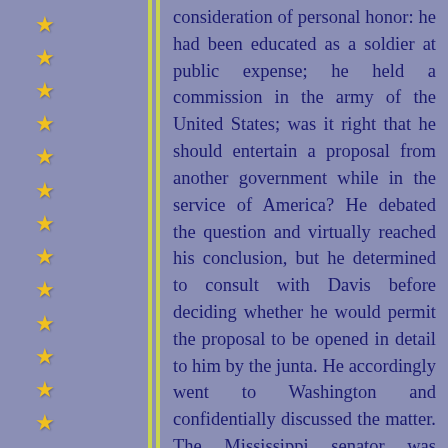consideration of personal honor: he had been educated as a soldier at public expense; he held a commission in the army of the United States; was it right that he should entertain a proposal from another government while in the service of America? He debated the question and virtually reached his conclusion, but he determined to consult with Davis before deciding whether he would permit the proposal to be opened in detail to him by the junta. He accordingly went to Washington and confidentially discussed the matter. The Mississippi senator was disposed to canvass the chances of military success, but Lee explained that he wanted the judgment of Davis on the ethics of entertaining any offer from a foreign power. Davis's answer is not recorded, but Lee took the strictest view of his duty and